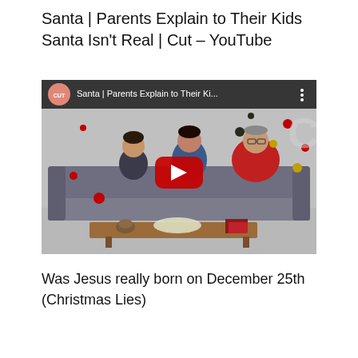Santa | Parents Explain to Their Kids Santa Isn't Real | Cut – YouTube
[Figure (screenshot): YouTube video thumbnail showing a family (child, woman, man) sitting on a gray sofa with a coffee table in front, Christmas ornaments in the background. The CUT channel badge and video title bar appear at the top. A red YouTube play button is centered over the image. The YouTube watermark 'C' is visible at top right.]
Was Jesus really born on December 25th (Christmas Lies)